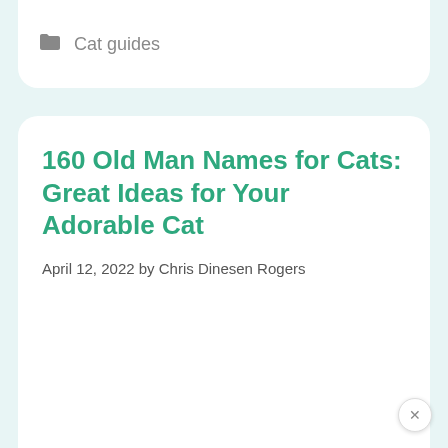Cat guides
160 Old Man Names for Cats: Great Ideas for Your Adorable Cat
April 12, 2022 by Chris Dinesen Rogers
[Figure (photo): A dark cat sitting outdoors among green trees and foliage, blurred background with bokeh effect]